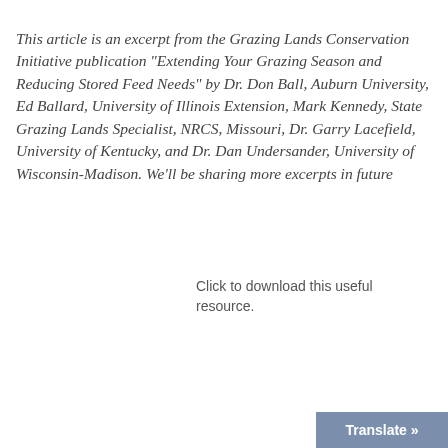This article is an excerpt from the Grazing Lands Conservation Initiative publication "Extending Your Grazing Season and Reducing Stored Feed Needs" by Dr. Don Ball, Auburn University, Ed Ballard, University of Illinois Extension, Mark Kennedy, State Grazing Lands Specialist, NRCS, Missouri, Dr. Garry Lacefield, University of Kentucky, and Dr. Dan Undersander, University of Wisconsin-Madison. We'll be sharing more excerpts in future
Click to download this useful resource.
Translate »